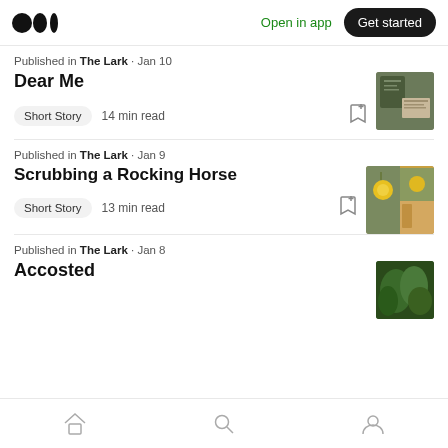Medium logo | Open in app | Get started
Published in The Lark · Jan 10
Dear Me
Short Story  14 min read
[Figure (photo): Thumbnail image for Dear Me article]
Published in The Lark · Jan 9
Scrubbing a Rocking Horse
Short Story  13 min read
[Figure (photo): Thumbnail image for Scrubbing a Rocking Horse article - sunflowers]
Published in The Lark · Jan 8
Accosted
[Figure (photo): Thumbnail image for Accosted article - green leaves]
Home | Search | Profile